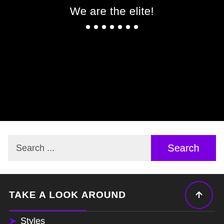[Figure (screenshot): Black hero banner with white text 'We are the elite!' and seven white dots below it as a carousel indicator]
Search ...
Search
TAKE A LOOK AROUND
Styles